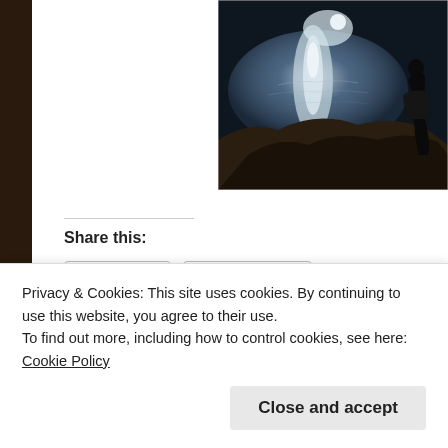[Figure (photo): Night scene showing a person silhouetted against moonlight reflecting on dark water, with rocky coastline in the foreground.]
Share this:
Twitter
Facebook
Like
Privacy & Cookies: This site uses cookies. By continuing to use this website, you agree to their use.
To find out more, including how to control cookies, see here:
Cookie Policy
Close and accept